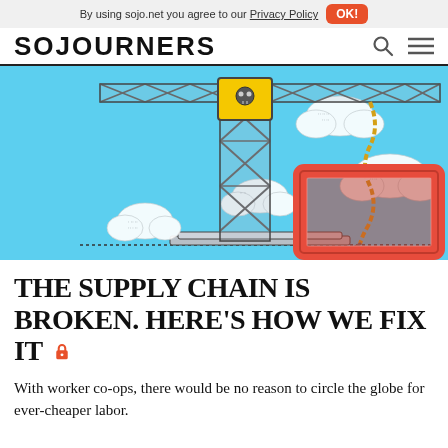By using sojo.net you agree to our Privacy Policy  OK!
SOJOURNERS
[Figure (illustration): Illustration of a construction crane with a skull emblem lifting a large empty red rectangular frame (resembling a shipping container outline) against a light blue sky with white clouds. The crane is grey lattice-structured with a yellow top section. A gold/yellow chain connects the hook to the frame.]
THE SUPPLY CHAIN IS BROKEN. HERE'S HOW WE FIX IT 🔒
With worker co-ops, there would be no reason to circle the globe for ever-cheaper labor.